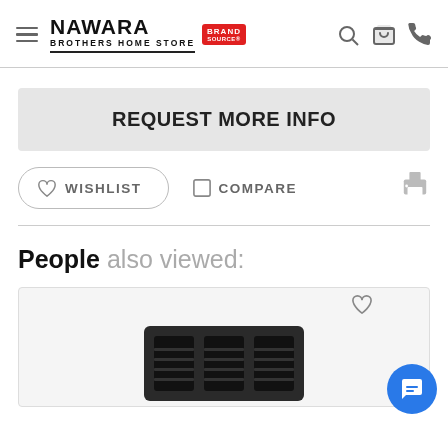Nawara Brothers Home Store — Brand Source
REQUEST MORE INFO
WISHLIST
COMPARE
People also viewed:
[Figure (photo): Product card showing a dark-colored appliance (appears to be a space heater or similar) in a light grey card with a wishlist heart icon overlay]